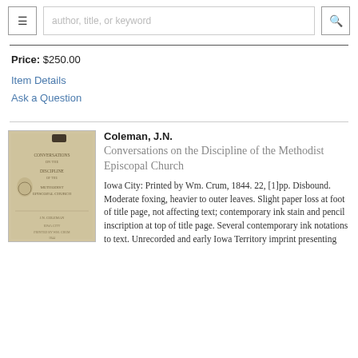≡  author, title, or keyword  🔍
Price: $250.00
Item Details
Ask a Question
[Figure (photo): Old worn book cover of Coleman J.N. Conversations on the Discipline of the Methodist Episcopal Church, Iowa City 1844]
Coleman, J.N.
Conversations on the Discipline of the Methodist Episcopal Church
Iowa City: Printed by Wm. Crum, 1844. 22, [1]pp. Disbound. Moderate foxing, heavier to outer leaves. Slight paper loss at foot of title page, not affecting text; contemporary ink stain and pencil inscription at top of title page. Several contemporary ink notations to text. Unrecorded and early Iowa Territory imprint presenting